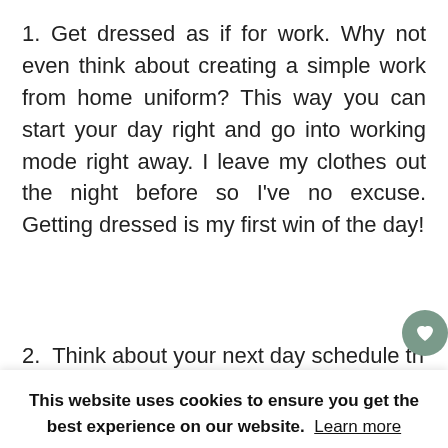1. Get dressed as if for work. Why not even think about creating a simple work from home uniform? This way you can start your day right and go into working mode right away. I leave my clothes out the night before so I've no excuse. Getting dressed is my first win of the day!
2. Think about your next day schedule th…
This website uses cookies to ensure you get the best experience on our website. Learn more
Allow Cookies